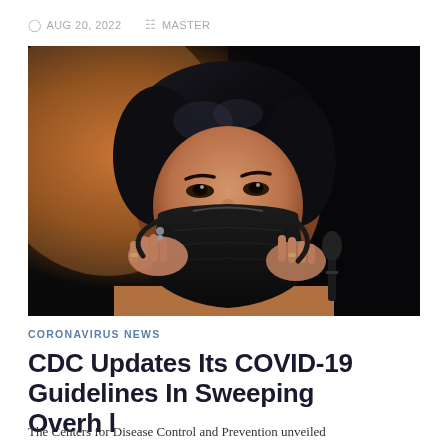AUG 20, 2022   MASTER
[Figure (photo): Woman wearing a black face mask adjusting the mask straps with both hands, photographed against a dark background with a warm amber light in the background. A microphone is partially visible on the right side.]
CORONAVIRUS NEWS
CDC Updates Its COVID-19 Guidelines In Sweeping Overhaul
The Centers for Disease Control and Prevention unveiled